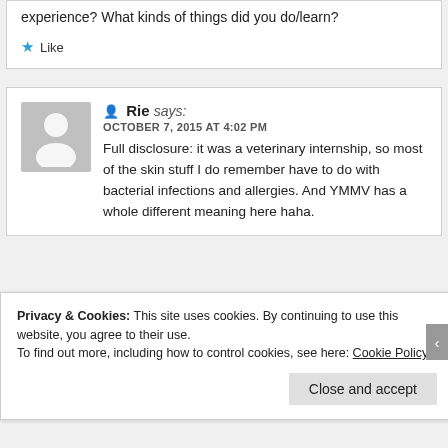experience? What kinds of things did you do/learn?
Like
Rie says: OCTOBER 7, 2015 AT 4:02 PM Full disclosure: it was a veterinary internship, so most of the skin stuff I do remember have to do with bacterial infections and allergies. And YMMV has a whole different meaning here haha.
Privacy & Cookies: This site uses cookies. By continuing to use this website, you agree to their use. To find out more, including how to control cookies, see here: Cookie Policy
Close and accept